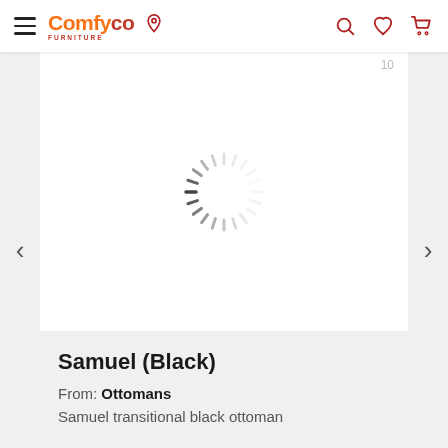[Figure (screenshot): Comfyco furniture website navigation bar with hamburger menu, logo, location pin icon, and search/wishlist/cart icons on the right]
[Figure (other): Loading spinner (circular dashed spinner) shown in a white product image area]
Samuel (Black)
From: Ottomans
Samuel transitional black ottoman